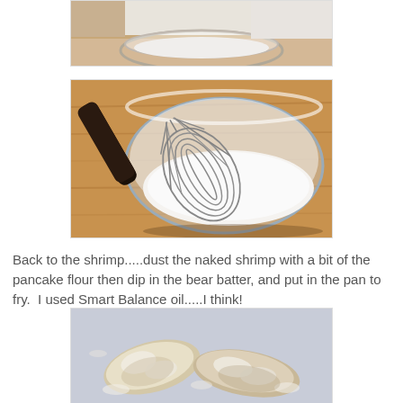[Figure (photo): Top portion of a photo showing a glass jar or bowl with white substance, partially cut off at top of page]
[Figure (photo): A metal whisk resting in a clear glass bowl containing white batter or flour mixture, on a wooden surface]
Back to the shrimp.....dust the naked shrimp with a bit of the pancake flour then dip in the bear batter, and put in the pan to fry.  I used Smart Balance oil.....I think!
[Figure (photo): Shrimp dusted with flour/batter in a pan or dish, partially visible at bottom of page]